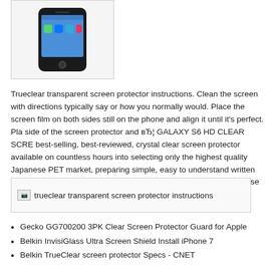[Figure (photo): Image of a smartphone (iPhone) showing home screen with app icons]
Trueclear transparent screen protector instructions. Clean the screen with directions typically say or how you normally would. Place the screen film on both sides still on the phone and align it until it's perfect. Place side of the screen protector and вЂ¦ GALAXY S6 HD CLEAR SCRE best-selling, best-reviewed, crystal clear screen protector available on countless hours into selecting only the highest quality Japanese PET market, preparing simple, easy to understand written and video instru are available to answer any questions that may arise before, during.
[Figure (screenshot): Image placeholder: trueclear transparent screen protector instructions]
Gecko GG700200 3PK Clear Screen Protector Guard for Apple
Belkin InvisiGlass Ultra Screen Shield Install iPhone 7
Belkin TrueClear screen protector Specs - CNET